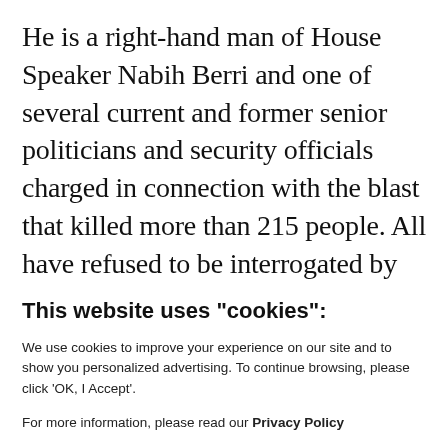He is a right-hand man of House Speaker Nabih Berri and one of several current and former senior politicians and security officials charged in connection with the blast that killed more than 215 people. All have refused to be interrogated by Bitar, saying he lacks the authority to do so and is biased
This website uses "cookies":
We use cookies to improve your experience on our site and to show you personalized advertising. To continue browsing, please click 'OK, I Accept'.
For more information, please read our Privacy Policy
Ok, I Accept